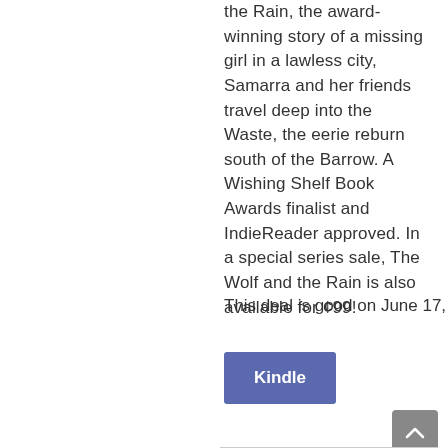the Rain, the award-winning story of a missing girl in a lawless city, Samarra and her friends travel deep into the Waste, the eerie reburn south of the Barrow. A Wishing Shelf Book Awards finalist and IndieReader approved. In a special series sale, The Wolf and the Rain is also available for ¢99!
This deal is good on June 17, 2021
[Figure (other): Blue Kindle button]
[Figure (other): Gray scroll-to-top arrow button]